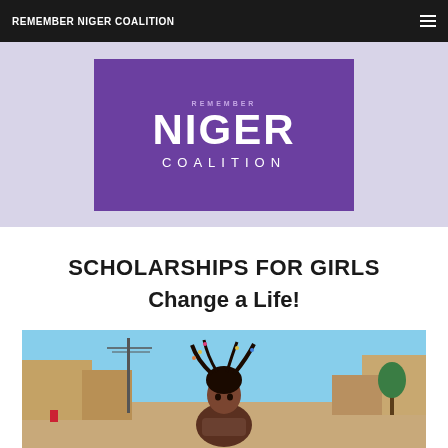REMEMBER NIGER COALITION
[Figure (logo): Remember Niger Coalition logo — purple rectangle with 'NIGER' in large white letters and 'COALITION' below in spaced white letters, on a lavender background with italic watermark text]
SCHOLARSHIPS FOR GIRLS
Change a Life!
[Figure (photo): Photograph of a young girl with braided hair adorned with beads, standing outdoors in what appears to be a village or town setting with buildings and a utility pole visible in the background under a blue sky]